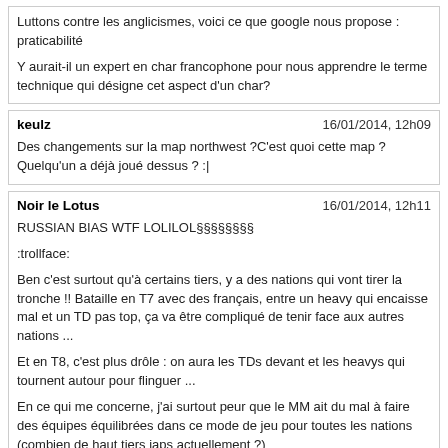Luttons contre les anglicismes, voici ce que google nous propose : praticabilité

Y aurait-il un expert en char francophone pour nous apprendre le terme technique qui désigne cet aspect d'un char?
keulz	16/01/2014, 12h09
Des changements sur la map northwest ?C'est quoi cette map ? Quelqu'un a déjà joué dessus ? :|
Noir le Lotus	16/01/2014, 12h11
RUSSIAN BIAS WTF LOLILOL§§§§§§§§
:trollface:
Ben c'est surtout qu'à certains tiers, y a des nations qui vont tirer la tronche !! Bataille en T7 avec des français, entre un heavy qui encaisse mal et un TD pas top, ça va être compliqué de tenir face aux autres nations ...
Et en T8, c'est plus drôle : on aura les TDs devant et les heavys qui tournent autour pour flinguer ...
En ce qui me concerne, j'ai surtout peur que le MM ait du mal à faire des équipes équilibrées dans ce mode de jeu pour toutes les nations (combien de haut tiers japs actuellement ?)
Thonyo_again	16/01/2014, 12h11
- Foch is getting an engine nerf (1500 to 1000hp)
A ce niveau là, c'est plus un nerf, c'est un sabordage :tired:
Évidemment le syndrome allemand "regardez, on diminue la puissance des moteurs mais en fait le char va aller plus vite, lol" ne s'appliquera pas ici.